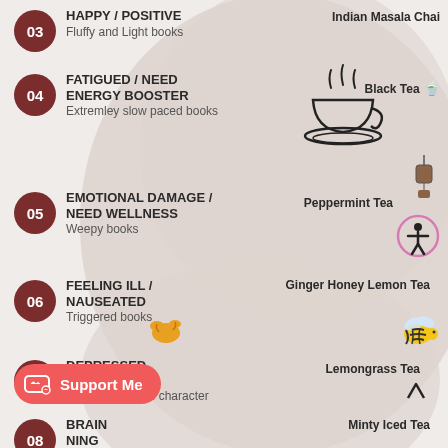[Figure (infographic): Mood-based book and tea pairing infographic. Items 03-08 listed with numbered circles, mood titles, book descriptions, and tea pairings with illustrations.]
03 HAPPY / POSITIVE - Fluffy and Light books - Indian Masala Chai
04 FATIGUED / NEED ENERGY BOOSTER - Extremley slow paced books - Black Tea
05 EMOTIONAL DAMAGE / NEED WELLNESS - Weepy books - Peppermint Tea
06 FEELING ILL / NAUSEATED - Triggered books - Ginger Honey Lemon Tea
07 DEPRESSED - Books that kills your favorite character - Lemongrass Tea
08 BRAIN [NING] - Books with urge to DNF - Minty Iced Tea
Support Me